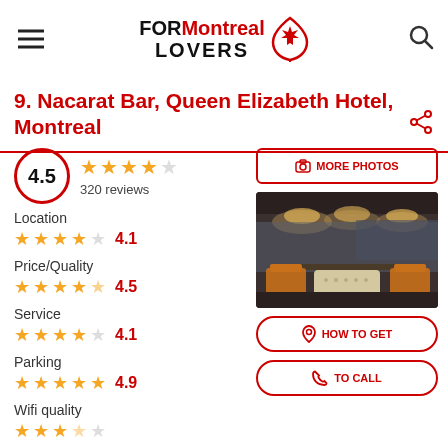FOR Montreal LOVERS
9. Nacarat Bar, Queen Elizabeth Hotel, Montreal
4.5 — 320 reviews
[Figure (photo): Interior photo of Nacarat Bar at Queen Elizabeth Hotel Montreal — dimly lit bar with pendant lights, upholstered seating, and large windows]
Location 4.1
Price/Quality 4.5
Service 4.1
Parking 4.9
Wifi quality